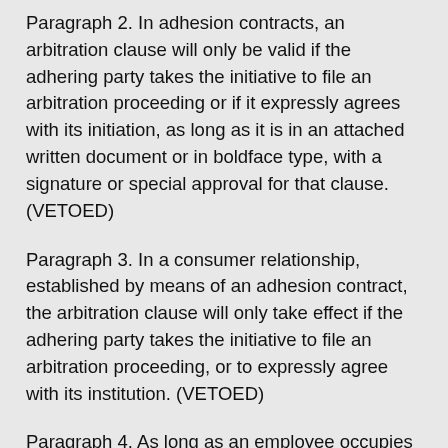Paragraph 2. In adhesion contracts, an arbitration clause will only be valid if the adhering party takes the initiative to file an arbitration proceeding or if it expressly agrees with its initiation, as long as it is in an attached written document or in boldface type, with a signature or special approval for that clause. (VETOED)
Paragraph 3. In a consumer relationship, established by means of an adhesion contract, the arbitration clause will only take effect if the adhering party takes the initiative to file an arbitration proceeding, or to expressly agree with its institution. (VETOED)
Paragraph 4. As long as an employee occupies or comes to occupy a position or function of an administrator or a director appointed pursuant to the by-laws, in individual labour contracts an arbitration clause may be agreed to, which will only enter into force if the employee takes the initiative to file an arbitration proceeding, or if the employee expressly agrees to an